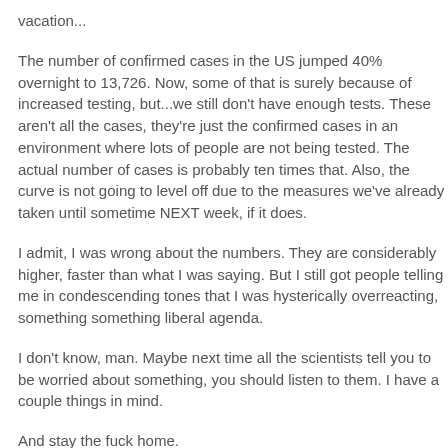vacation...
The number of confirmed cases in the US jumped 40% overnight to 13,726. Now, some of that is surely because of increased testing, but...we still don't have enough tests. These aren't all the cases, they're just the confirmed cases in an environment where lots of people are not being tested. The actual number of cases is probably ten times that. Also, the curve is not going to level off due to the measures we've already taken until sometime NEXT week, if it does.
I admit, I was wrong about the numbers. They are considerably higher, faster than what I was saying. But I still got people telling me in condescending tones that I was hysterically overreacting, something something liberal agenda.
I don't know, man. Maybe next time all the scientists tell you to be worried about something, you should listen to them. I have a couple things in mind.
And stay the fuck home.